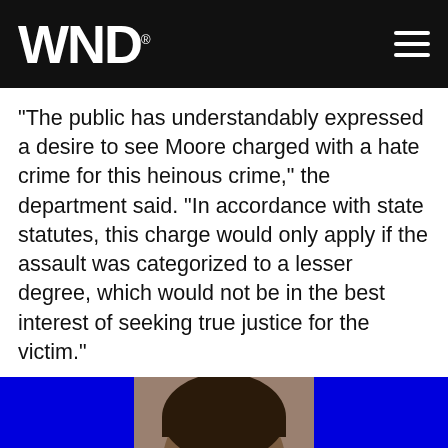WND
"The public has understandably expressed a desire to see Moore charged with a hate crime for this heinous crime," the department said. "In accordance with state statutes, this charge would only apply if the assault was categorized to a lesser degree, which would not be in the best interest of seeking true justice for the victim."
[Figure (photo): Mugshot-style photo of a man, flanked by solid blue advertisement panels on both sides. A close button (×) appears in the lower right corner.]
Advertisement
8 Most Successful Technology Failures Of All Time